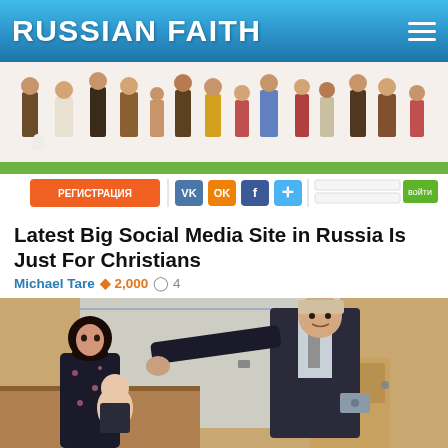RUSSIAN FAITH
[Figure (screenshot): Screenshot of a Russian social media/dating website with registration button in orange (РЕГИСТРАЦИЯ), VK, Odnoklassniki, Facebook, and other social login icons, and an illustration of people above.]
Latest Big Social Media Site in Russia Is Just For Christians
Michael Tare ♦ 2,000 ○ 4
[Figure (photo): Photo of a man in a dark suit (Vladimir Putin) leaning forward and touching the head of a baby being held by a woman with dark hair wearing a floral dress, in an indoor setting.]